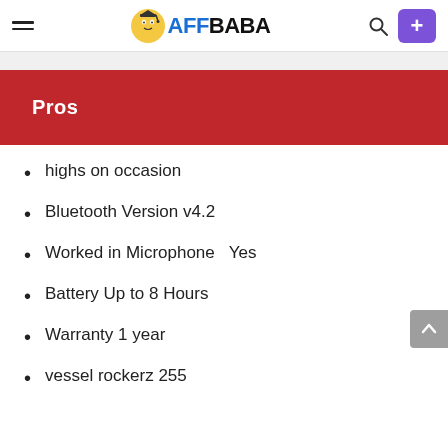AFFBABA
Pros
highs on occasion
Bluetooth Version v4.2
Worked in Microphone   Yes
Battery Up to 8 Hours
Warranty 1 year
vessel rockerz 255